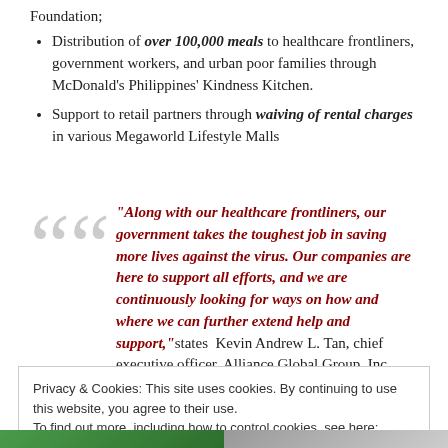Foundation;
Distribution of over 100,000 meals to healthcare frontliners, government workers, and urban poor families through McDonald's Philippines' Kindness Kitchen.
Support to retail partners through waiving of rental charges in various Megaworld Lifestyle Malls
“Along with our healthcare frontliners, our government takes the toughest job in saving more lives against the virus. Our companies are here to support all efforts, and we are continuously looking for ways on how and where we can further extend help and support,” states Kevin Andrew L. Tan, chief executive officer, Alliance Global Group, Inc.
Privacy & Cookies: This site uses cookies. By continuing to use this website, you agree to their use.
To find out more, including how to control cookies, see here: Cookie Policy